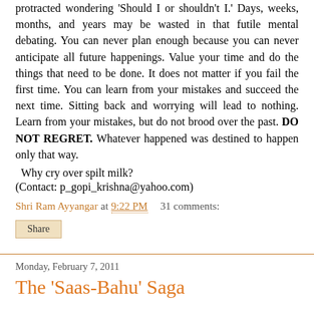protracted wondering 'Should I or shouldn't I.' Days, weeks, months, and years may be wasted in that futile mental debating. You can never plan enough because you can never anticipate all future happenings. Value your time and do the things that need to be done. It does not matter if you fail the first time. You can learn from your mistakes and succeed the next time. Sitting back and worrying will lead to nothing. Learn from your mistakes, but do not brood over the past. DO NOT REGRET. Whatever happened was destined to happen only that way.
Why cry over spilt milk?
(Contact: p_gopi_krishna@yahoo.com)
Shri Ram Ayyangar at 9:22 PM   31 comments:
Share
Monday, February 7, 2011
The 'Saas-Bahu' Saga